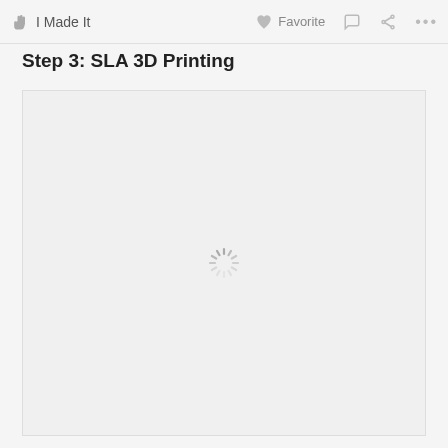I Made It  Favorite  ...
Step 3: SLA 3D Printing
[Figure (screenshot): Loading spinner (rotating dashes icon) centered in a light gray image placeholder area, indicating an image is loading.]